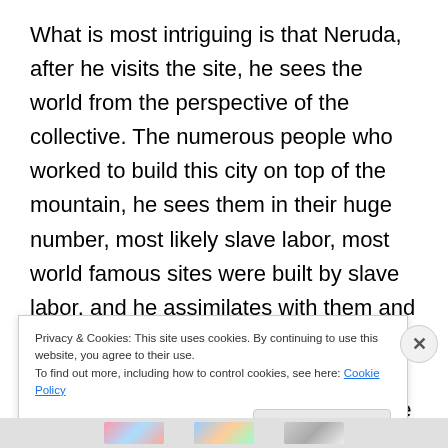What is most intriguing is that Neruda, after he visits the site, he sees the world from the perspective of the collective. The numerous people who worked to build this city on top of the mountain, he sees them in their huge number, most likely slave labor, most world famous sites were built by slave labor, and he assimilates with them and he tries to represent them, to help them, short of speak, he tries to find a justification for their struggle … and the answer to this is Neruda's effort to pass them into immortality by writing and telling the world about them and
Privacy & Cookies: This site uses cookies. By continuing to use this website, you agree to their use.
To find out more, including how to control cookies, see here: Cookie Policy
Close and accept